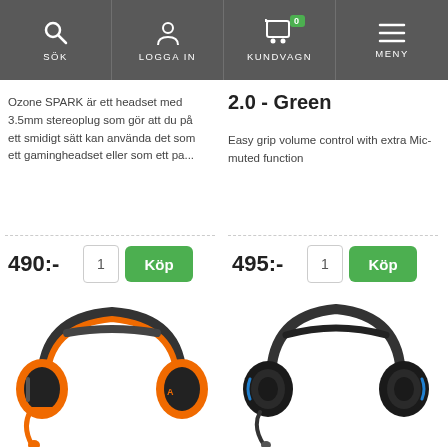SÖK | LOGGA IN | KUNDVAGN 0 | MENY
2.0 - Green
Ozone SPARK är ett headset med 3.5mm stereoplug som gör att du på ett smidigt sätt kan använda det som ett gamingheadset eller som ett pa...
Easy grip volume control with extra Mic-muted function
490:-
495:-
[Figure (photo): Orange and black gaming headset viewed from front]
[Figure (photo): Black and blue gaming headset viewed from front]